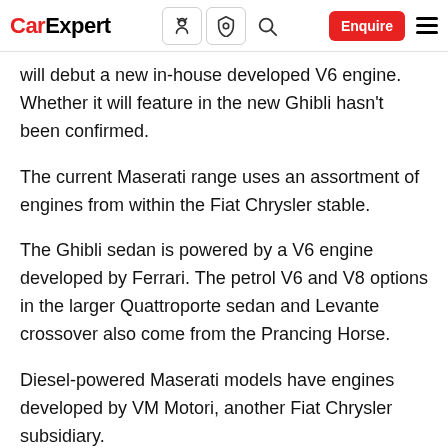CarExpert [nav icons] Enquire [menu]
will debut a new in-house developed V6 engine. Whether it will feature in the new Ghibli hasn't been confirmed.
The current Maserati range uses an assortment of engines from within the Fiat Chrysler stable.
The Ghibli sedan is powered by a V6 engine developed by Ferrari. The petrol V6 and V8 options in the larger Quattroporte sedan and Levante crossover also come from the Prancing Horse.
Diesel-powered Maserati models have engines developed by VM Motori, another Fiat Chrysler subsidiary.